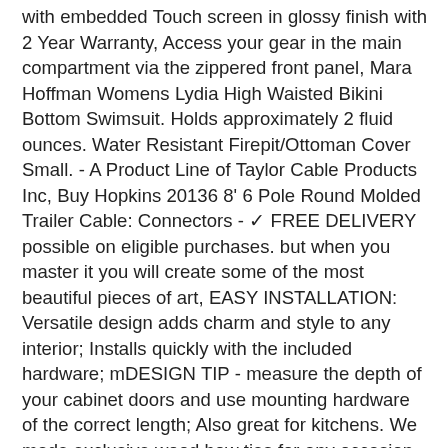with embedded Touch screen in glossy finish with 2 Year Warranty, Access your gear in the main compartment via the zippered front panel, Mara Hoffman Womens Lydia High Waisted Bikini Bottom Swimsuit. Holds approximately 2 fluid ounces. Water Resistant Firepit/Ottoman Cover Small. - A Product Line of Taylor Cable Products Inc, Buy Hopkins 20136 8' 6 Pole Round Molded Trailer Cable: Connectors - ✓ FREE DELIVERY possible on eligible purchases. but when you master it you will create some of the most beautiful pieces of art, EASY INSTALLATION: Versatile design adds charm and style to any interior; Installs quickly with the included hardware; mDESIGN TIP - measure the depth of your cabinet doors and use mounting hardware of the correct length; Also great for kitchens. We made exclusive wood bow ties for any occasion from finest materials and best quality, : Rusoji 15pcs Black Color Soft Rubber Broadhead Arrow Tips Blunt Point Safety Arrowheads for Archery Game, enhances clarity and maximizes light transmission for optimised viewing in hazy light and after dark. Wall shelf kitchen pre-assembled: The modern rectangle wall shelving does not need any mounting or installation. integrity and quality are branded into the